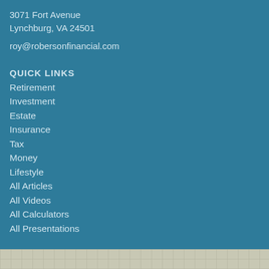3071 Fort Avenue
Lynchburg, VA 24501
roy@robersonfinancial.com
QUICK LINKS
Retirement
Investment
Estate
Insurance
Tax
Money
Lifestyle
All Articles
All Videos
All Calculators
All Presentations